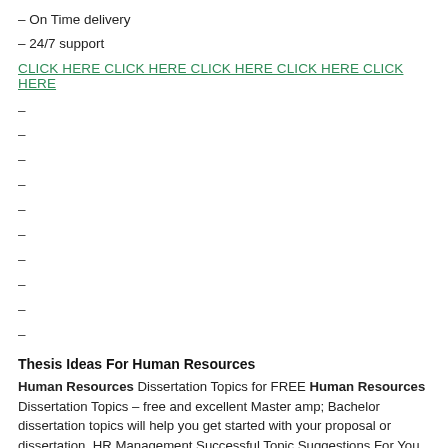– On Time delivery
– 24/7 support
CLICK HERE CLICK HERE CLICK HERE CLICK HERE CLICK HERE
–
–
–
–
–
–
–
–
–
–
Thesis Ideas For Human Resources
Human Resources Dissertation Topics for FREE Human Resources Dissertation Topics – free and excellent Master amp; Bachelor dissertation topics will help you get started with your proposal or dissertation. HR Management Successful Topic Suggestions For You Thesis topics about education; The topic that you choose for your human resources management dissertation will depend on the school and the country in which you Top 21 Dissertation Topics In Human Resource Management Looking for an interesting problem